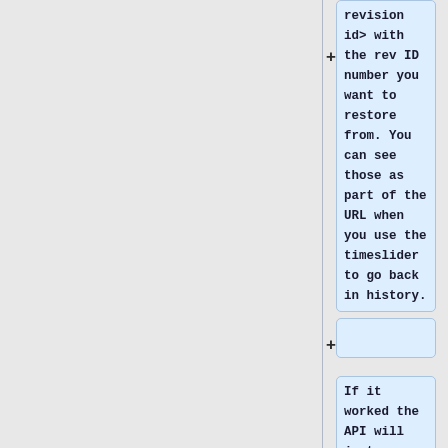revision id> with the rev ID number you want to restore from. You can see those as part of the URL when you use the timeslider to go back in history.
If it worked the API will just